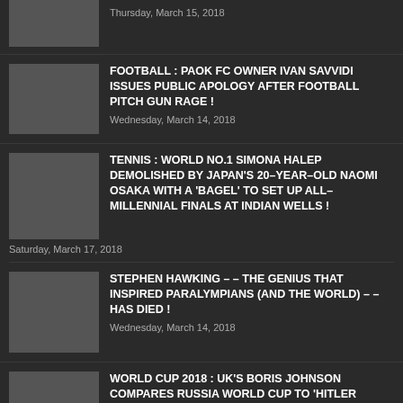Thursday, March 15, 2018 [partial top item]
FOOTBALL : PAOK FC OWNER IVAN SAVVIDI ISSUES PUBLIC APOLOGY AFTER FOOTBALL PITCH GUN RAGE ! — Wednesday, March 14, 2018
TENNIS : WORLD NO.1 SIMONA HALEP DEMOLISHED BY JAPAN'S 20-YEAR-OLD NAOMI OSAKA WITH A 'BAGEL' TO SET UP ALL-MILLENNIAL FINALS AT INDIAN WELLS ! — Saturday, March 17, 2018
STEPHEN HAWKING – – THE GENIUS THAT INSPIRED PARALYMPIANS (AND THE WORLD) – – HAS DIED ! — Wednesday, March 14, 2018
WORLD CUP 2018 : UK'S BORIS JOHNSON COMPARES RUSSIA WORLD CUP TO 'HITLER OLYMPICS' ! — Thursday, March 22, 2018
FOOTBALL : LIONEL MESSI TO MARRY CHILDHOOD SWEETHEART ANTONELLA ...